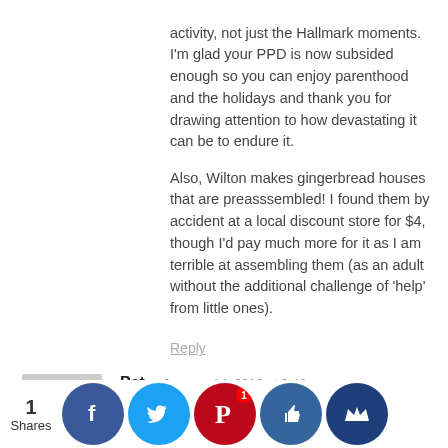activity, not just the Hallmark moments. I'm glad your PPD is now subsided enough so you can enjoy parenthood and the holidays and thank you for drawing attention to how devastating it can be to endure it.
Also, Wilton makes gingerbread houses that are preasssembled! I found them by accident at a local discount store for $4, though I'd pay much more for it as I am terrible at assembling them (as an adult without the additional challenge of 'help' from little ones).
Reply
Pat  January 14, 2019 at 9:48 am
My babies are 42 and 40 now. Your article brought back so many memories. The time passes so quickly. It is important to enjoy these moments. And laugh! You are both great parents!
Reply
Mary Jo  January 14, 2019 at 9:49 am
You might enjoy this Parent carol, which got us through a lot of Christmases Eves as our children were young...
1 Shares